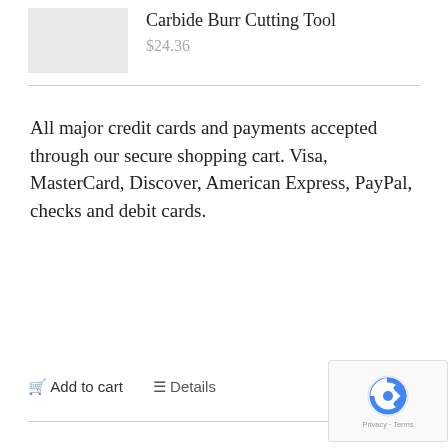Carbide Burr Cutting Tool
$24.36
All major credit cards and payments accepted through our secure shopping cart. Visa, MasterCard, Discover, American Express, PayPal, checks and debit cards.
Add to cart   Details
[Figure (logo): reCAPTCHA logo with Privacy and Terms text]